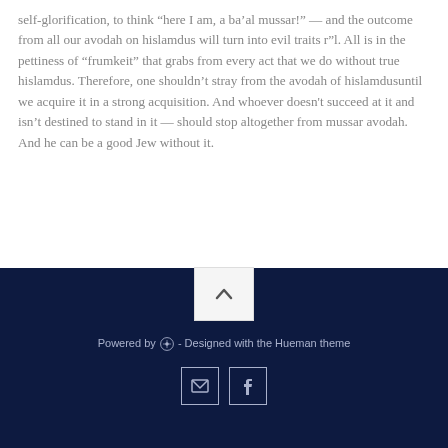self-glorification, to think “here I am, a ba’al mussar!” — and the outcome from all our avodah on hislamdus will turn into evil traits r”l. All is in the pettiness of “frumkeit” that grabs from every act that we do without true hislamdus. Therefore, one shouldn’t stray from the avodah of hislamdusuntil we acquire it in a strong acquisition. And whoever doesn't succeed at it and isn’t destined to stand in it — should stop altogether from mussar avodah. And he can be a good Jew without it.
Powered by WordPress - Designed with the Hueman theme